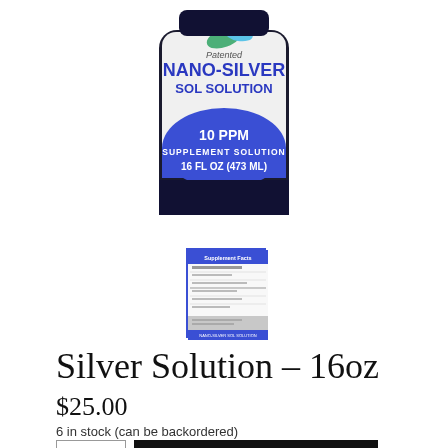[Figure (photo): Product photo of Patented NANO-SILVER SOL SOLUTION bottle, 10 PPM Supplement Solution, 16 FL OZ (473 ML), dark blue bottle with blue and white label]
[Figure (photo): Thumbnail of supplement facts label for Nano-Silver Sol Solution]
Silver Solution – 16oz
$25.00
6 in stock (can be backordered)
1  +  ADD TO CART